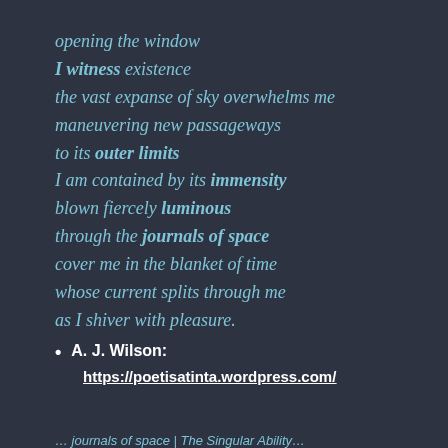opening the window
I witness existence
the vast expanse of sky overwhelms me
maneuvering new passageways
to its outer limits
I am contained by its immensity
blown fiercely luminous
through the journals of space
cover me in the blanket of time
whose current splits through me
as I shiver with pleasure.
A. J. Wilson:
https://poetisatinta.wordpress.com/
... journals of space | The Singular Ability...